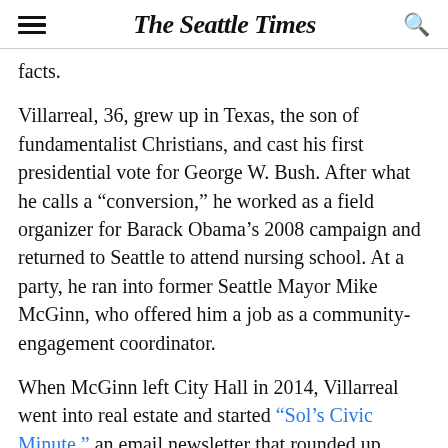The Seattle Times
facts.
Villarreal, 36, grew up in Texas, the son of fundamentalist Christians, and cast his first presidential vote for George W. Bush. After what he calls a “conversion,” he worked as a field organizer for Barack Obama’s 2008 campaign and returned to Seattle to attend nursing school. At a party, he ran into former Seattle Mayor Mike McGinn, who offered him a job as a community-engagement coordinator.
When McGinn left City Hall in 2014, Villarreal went into real estate and started “Sol’s Civic Minute,” an email newsletter that rounded up political action around the city — and helped him stay connected with, and grow, his real-estate client base. (Their slogan also helped: “Civic Minute” or something)